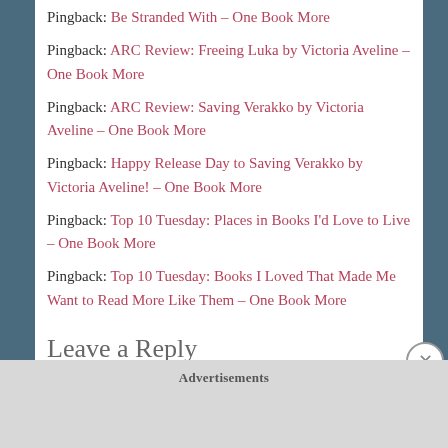Pingback: Be Stranded With – One Book More
Pingback: ARC Review: Freeing Luka by Victoria Aveline – One Book More
Pingback: ARC Review: Saving Verakko by Victoria Aveline – One Book More
Pingback: Happy Release Day to Saving Verakko by Victoria Aveline! – One Book More
Pingback: Top 10 Tuesday: Places in Books I'd Love to Live – One Book More
Pingback: Top 10 Tuesday: Books I Loved That Made Me Want to Read More Like Them – One Book More
Leave a Reply
Advertisements